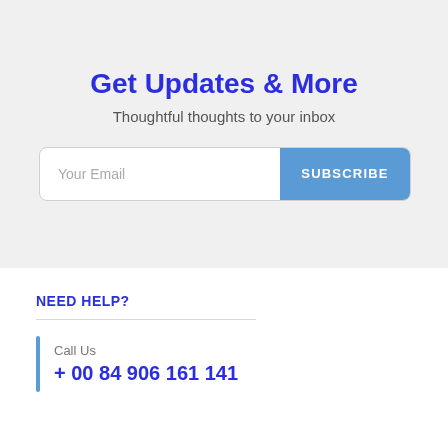Get Updates & More
Thoughtful thoughts to your inbox
[Figure (other): Email subscription form with placeholder 'Your Email' and a blue SUBSCRIBE button]
NEED HELP?
Call Us
+ 00 84 906 161 141